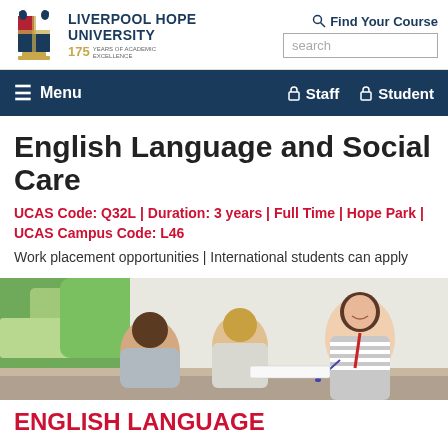[Figure (logo): Liverpool Hope University crest and logo with '175 Years of Academic Excellence' tagline]
Find Your Course | search
≡ Menu | 🔒 Staff | 🔒 Student
English Language and Social Care
UCAS Code: Q32L | Duration: 3 years | Full Time | Hope Park | UCAS Campus Code: L46
Work placement opportunities | International students can apply
[Figure (photo): Students studying together at a table; a smiling female student in striped top with a red lanyard holds a pen, engaging with others]
ENGLISH LANGUAGE